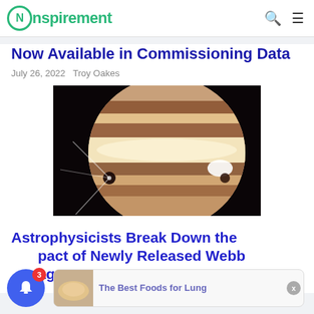Nspirement
Now Available in Commissioning Data
July 26, 2022 Troy Oakes
[Figure (photo): JWST infrared image of Jupiter showing banded atmosphere, two moons casting shadows, and a bright equatorial zone against black space background]
Astrophysicists Break Down the Impact of Newly Released Webb Images
[Figure (photo): Ad thumbnail showing food on a plate]
The Best Foods for Lung